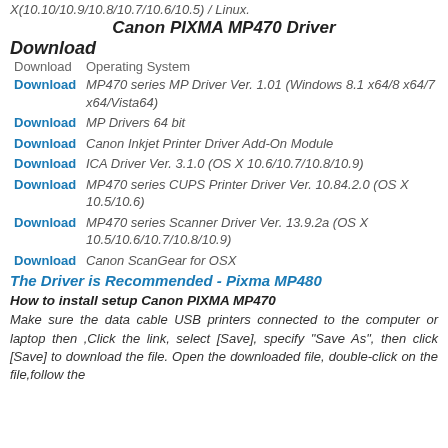X(10.10/10.9/10.8/10.7/10.6/10.5) / Linux.
Canon PIXMA MP470 Driver
Download
| Download | Operating System |
| --- | --- |
| Download | MP470 series MP Driver Ver. 1.01 (Windows 8.1 x64/8 x64/7 x64/Vista64) |
| Download | MP Drivers 64 bit |
| Download | Canon Inkjet Printer Driver Add-On Module |
| Download | ICA Driver Ver. 3.1.0 (OS X 10.6/10.7/10.8/10.9) |
| Download | MP470 series CUPS Printer Driver Ver. 10.84.2.0 (OS X 10.5/10.6) |
| Download | MP470 series Scanner Driver Ver. 13.9.2a (OS X 10.5/10.6/10.7/10.8/10.9) |
| Download | Canon ScanGear for OSX |
The Driver is Recommended - Pixma MP480
How to install setup Canon PIXMA MP470
Make sure the data cable USB printers connected to the computer or laptop then ,Click the link, select [Save], specify "Save As", then click [Save] to download the file. Open the downloaded file, double-click on the file,follow the